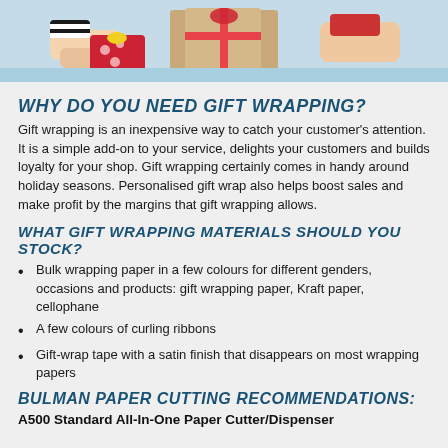[Figure (photo): Photo of gift wrapping scene with colorful presents and ribbons on a blue background, hands visible]
WHY DO YOU NEED GIFT WRAPPING?
Gift wrapping is an inexpensive way to catch your customer's attention. It is a simple add-on to your service, delights your customers and builds loyalty for your shop. Gift wrapping certainly comes in handy around holiday seasons. Personalised gift wrap also helps boost sales and make profit by the margins that gift wrapping allows.
WHAT GIFT WRAPPING MATERIALS SHOULD YOU STOCK?
Bulk wrapping paper in a few colours for different genders, occasions and products: gift wrapping paper, Kraft paper, cellophane
A few colours of curling ribbons
Gift-wrap tape with a satin finish that disappears on most wrapping papers
BULMAN PAPER CUTTING RECOMMENDATIONS:
A500 Standard All-In-One Paper Cutter/Dispenser